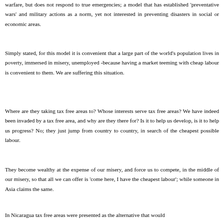warfare, but does not respond to true emergencies; a model that has established 'preventative wars' and military actions as a norm, yet not interested in preventing disasters in social or economic areas.
Simply stated, for this model it is convenient that a large part of the world's population lives in poverty, immersed in misery, unemployed -because having a market teeming with cheap labour is convenient to them. We are suffering this situation.
Where are they taking tax free areas to? Whose interests serve tax free areas? We have indeed been invaded by a tax free area, and why are they there for? Is it to help us develop, is it to help us progress? No; they just jump from country to country, in search of the cheapest possible labour.
They become wealthy at the expense of our misery, and force us to compete, in the middle of our misery, so that all we can offer is 'come here, I have the cheapest labour'; while someone in Asia claims the same.
In Nicaragua tax free areas were presented as the alternative that would